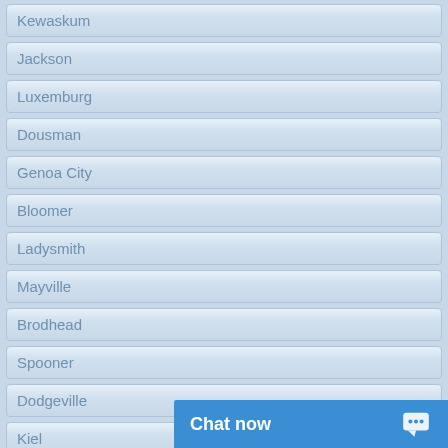Kewaskum
Jackson
Luxemburg
Dousman
Genoa City
Bloomer
Ladysmith
Mayville
Brodhead
Spooner
Dodgeville
Kiel
Twin Lakes
Chat now